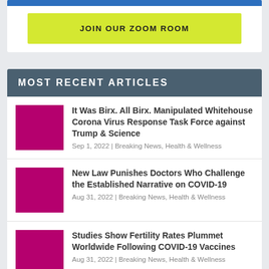[Figure (other): Blue bar at top of white card]
JOIN OUR ZOOM ROOM
MOST RECENT ARTICLES
It Was Birx. All Birx. Manipulated Whitehouse Corona Virus Response Task Force against Trump & Science
Sep 1, 2022 | Breaking News, Health & Wellness
New Law Punishes Doctors Who Challenge the Established Narrative on COVID-19
Aug 31, 2022 | Breaking News, Health & Wellness
Studies Show Fertility Rates Plummet Worldwide Following COVID-19 Vaccines
Aug 31, 2022 | Breaking News, Health & Wellness